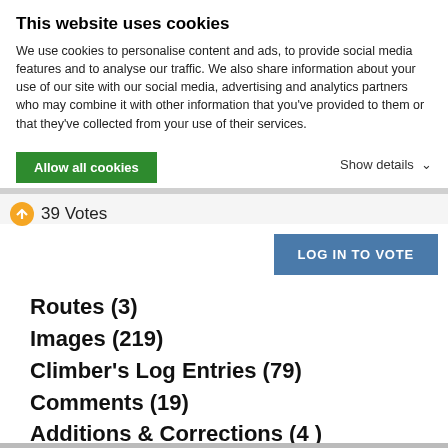This website uses cookies
We use cookies to personalise content and ads, to provide social media features and to analyse our traffic. We also share information about your use of our site with our social media, advertising and analytics partners who may combine it with other information that you've provided to them or that they've collected from your use of their services.
Allow all cookies
Show details ∨
39 Votes
LOG IN TO VOTE
Routes (3)
Images (219)
Climber's Log Entries (79)
Comments (19)
Additions & Corrections (4 )